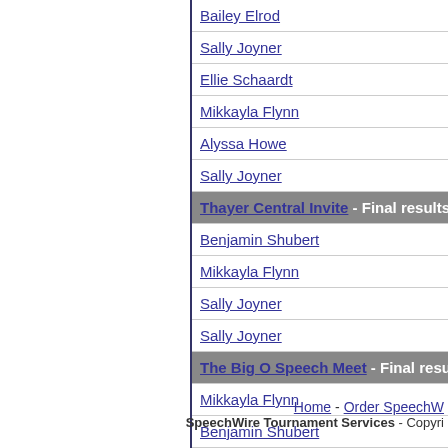Bailey Elrod
Sally Joyner
Ellie Schaardt
Mikkayla Flynn
Alyssa Howe
Sally Joyner
Thayer Central Invite - Final results
Benjamin Shubert
Mikkayla Flynn
Sally Joyner
Sally Joyner
The Big O Speech Meet - Final results
Mikkayla Flynn
Benjamin Shubert
Home - Order SpeechWire Tournament Services - Copyright